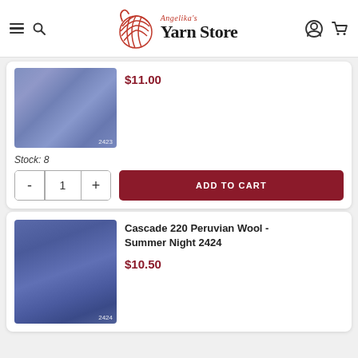[Figure (logo): Angelika's Yarn Store logo with yarn ball and navigation icons]
$11.00
Stock: 8
[Figure (photo): Blue/periwinkle yarn skein labeled 2423]
ADD TO CART
Cascade 220 Peruvian Wool - Summer Night 2424
$10.50
[Figure (photo): Dark blue/navy yarn skein labeled 2424]